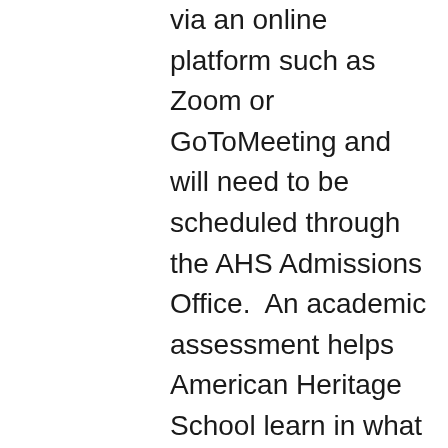via an online platform such as Zoom or GoToMeeting and will need to be scheduled through the AHS Admissions Office.  An academic assessment helps American Heritage School learn in what ways it can support the student and family. The full intake assessment will require approximately 2–3 hours and will test a student's Math and English writing skills. Applicants receive personal feedback within a few weeks following the assessment.